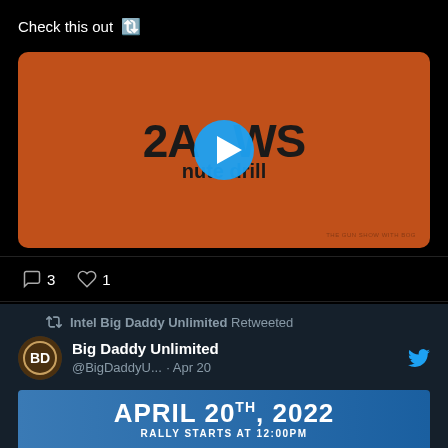California banning gun magazines... Check this out 🔃
[Figure (screenshot): Orange video thumbnail with '2A NEWS minute drill' text and blue play button overlay]
3 comments · 1 like
Intel Big Daddy Unlimited Retweeted
Big Daddy Unlimited @BigDaddyU... · Apr 20
Happening TODAY!!!!
PutItOnHisDesk.com
APRIL 20TH, 2022
RALLY STARTS AT 12:00PM